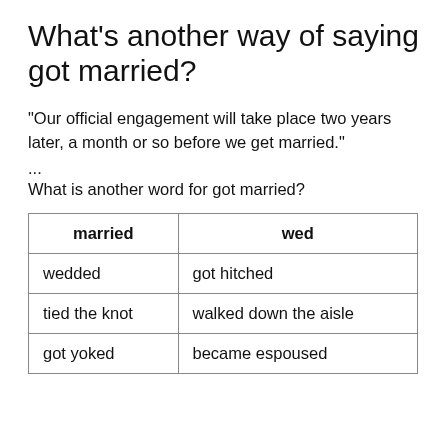What’s another way of saying got married?
“Our official engagement will take place two years later, a month or so before we get married.”
...
What is another word for got married?
| married | wed |
| --- | --- |
| wedded | got hitched |
| tied the knot | walked down the aisle |
| got yoked | became espoused |